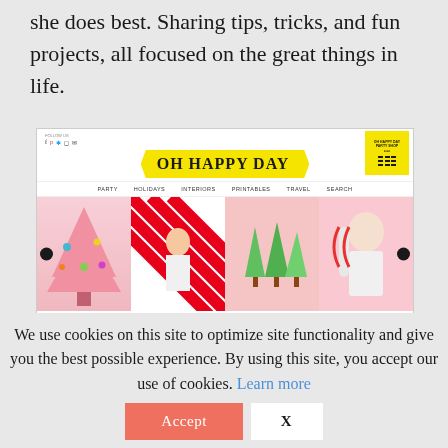she does best. Sharing tips, tricks, and fun projects, all focused on the great things in life.
[Figure (screenshot): Screenshot of 'Oh Happy Day' blog website showing the logo, navigation menu (PARTY, HOLIDAYS, INTERIORS, PRINTABLES, TRAVEL, SEARCH), and a carousel of four colorful images including a pink Christmas tree, red and white striped pattern, green trees on pink background, and candy on pink background. Yellow party shop badge in top right.]
We use cookies on this site to optimize site functionality and give you the best possible experience. By using this site, you accept our use of cookies. Learn more
Accept
X